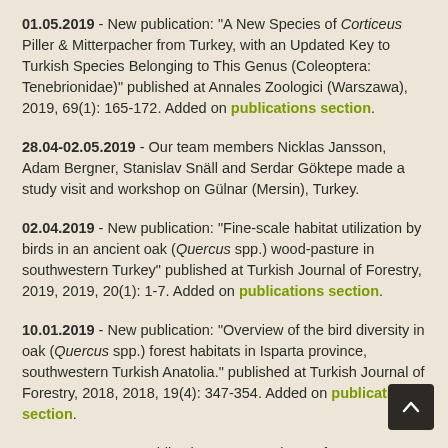01.05.2019 - New publication: "A New Species of Corticeus Piller & Mitterpacher from Turkey, with an Updated Key to Turkish Species Belonging to This Genus (Coleoptera: Tenebrionidae)" published at Annales Zoologici (Warszawa), 2019, 69(1): 165-172. Added on publications section.
28.04-02.05.2019 - Our team members Nicklas Jansson, Adam Bergner, Stanislav Snäll and Serdar Göktepe made a study visit and workshop on Gülnar (Mersin), Turkey.
02.04.2019 - New publication: "Fine-scale habitat utilization by birds in an ancient oak (Quercus spp.) wood-pasture in southwestern Turkey" published at Turkish Journal of Forestry, 2019, 2019, 20(1): 1-7. Added on publications section.
10.01.2019 - New publication: "Overview of the bird diversity in oak (Quercus spp.) forest habitats in Isparta province, southwestern Turkish Anatolia." published at Turkish Journal of Forestry, 2018, 2018, 19(4): 347-354. Added on publications section.
01.01.2019 - New publication: "Perspective on forest biodiversity indicators for protected areas: a comparison of Turkish and Swedish forest expert opinions." published at Applied Ecology and...